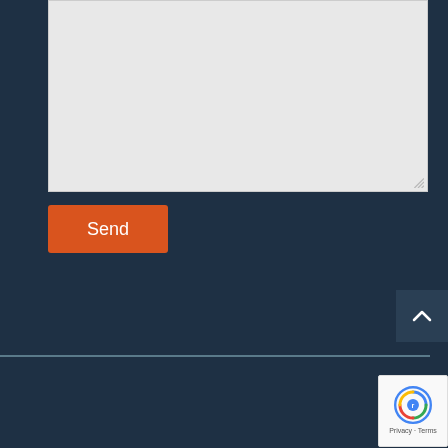[Figure (screenshot): A light gray textarea input box with a resize handle in the bottom-right corner, on a dark navy background.]
Send
[Figure (other): A scroll-to-top button with an upward chevron arrow on a dark background, positioned at the right edge.]
Created by Brand Your Practice, Inc.   All rights Reserved
[Figure (logo): Google reCAPTCHA badge with the reCAPTCHA logo and Privacy - Terms text.]